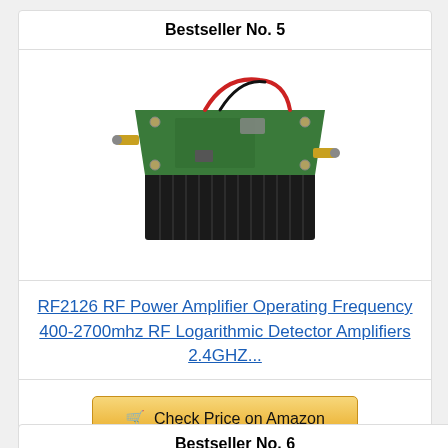Bestseller No. 5
[Figure (photo): Photo of RF2126 RF Power Amplifier module mounted on a black heat sink, with green PCB, SMA connectors, and red/black wires visible.]
RF2126 RF Power Amplifier Operating Frequency 400-2700mhz RF Logarithmic Detector Amplifiers 2.4GHZ...
Check Price on Amazon
Bestseller No. 6